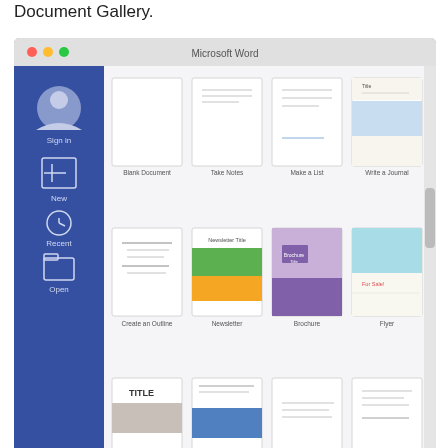Document Gallery.
[Figure (screenshot): Microsoft Word 2016 Document Gallery window showing template options: Blank Document, Take Notes, Make a List, Write a Journal, Create an Outline, Newsletter, Brochure, Flyer, and more. Blue sidebar with Sign in, New, Recent, Open icons. Cancel and Create buttons at bottom.]
2016 Document Gallery.
[Figure (other): Advertisement banner: Online Home Store for Furniture - Shop Wayfair for A Zillion Things Home across all styles - www.wayfair.com, with furniture image on left and blue arrow button on right.]